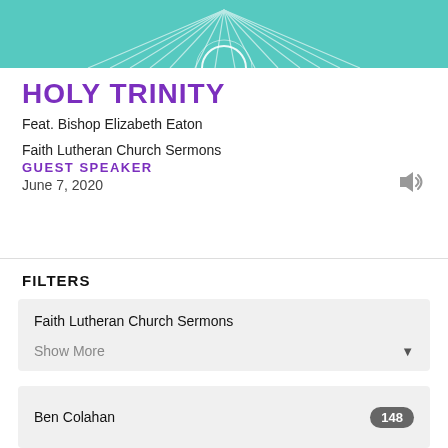[Figure (illustration): Teal banner at top with radiating white lines and a circular emblem, partial view]
HOLY TRINITY
Feat. Bishop Elizabeth Eaton
Faith Lutheran Church Sermons
GUEST SPEAKER
June 7, 2020
FILTERS
Faith Lutheran Church Sermons
Show More
Ben Colahan	148